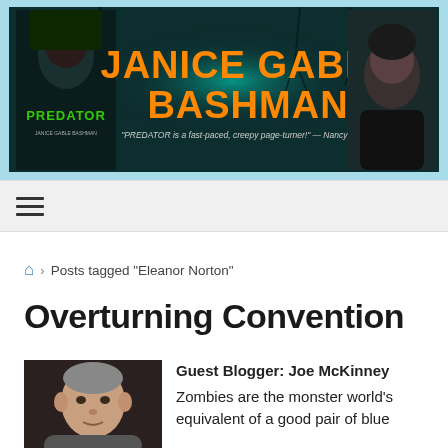[Figure (illustration): Website banner for Janice Gable Bashman featuring a dark teal forest background with glowing orb, book cover of PREDATOR on the left, author name in large orange text in the center, a quote 'PREDATOR is a fast-paced, creepy page-turner!' - Nancy Holder, and a photo of the author on the right.]
≡ (hamburger menu icon)
🏠 > Posts tagged "Eleanor Norton"
Overturning Convention
[Figure (photo): Headshot photo of a man with short grey hair against a dark background — Guest Blogger Joe McKinney]
Guest Blogger: Joe McKinney
Zombies are the monster world's equivalent of a good pair of blue